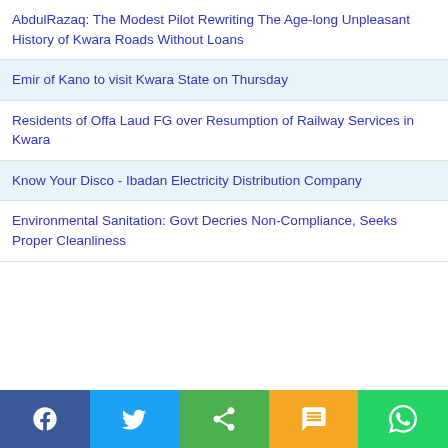AbdulRazaq: The Modest Pilot Rewriting The Age-long Unpleasant History of Kwara Roads Without Loans
Emir of Kano to visit Kwara State on Thursday
Residents of Offa Laud FG over Resumption of Railway Services in Kwara
Know Your Disco - Ibadan Electricity Distribution Company
Environmental Sanitation: Govt Decries Non-Compliance, Seeks Proper Cleanliness